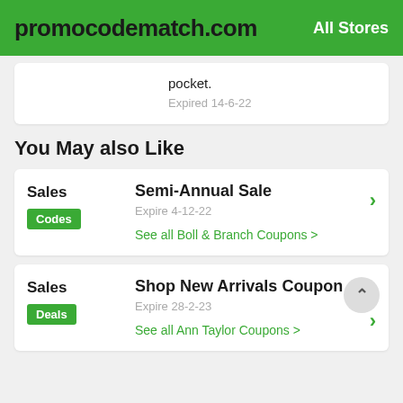promocodematch.com  All Stores
pocket.
Expired 14-6-22
You May also Like
Sales
Semi-Annual Sale
Expire 4-12-22
Codes
See all Boll & Branch Coupons >
Sales
Shop New Arrivals Coupon
Expire 28-2-23
Deals
See all Ann Taylor Coupons >